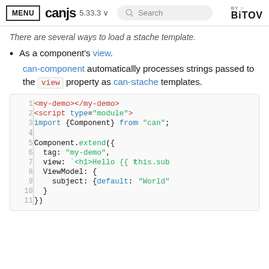MENU | canjs 5.33.3 | Search | BY BITOVI
There are several ways to load a stache template.
As a component's view. can-component automatically processes strings passed to the view property as can-stache templates.
[Figure (screenshot): Code block showing lines 1-11 of a CanJS component example with HTML and JavaScript]